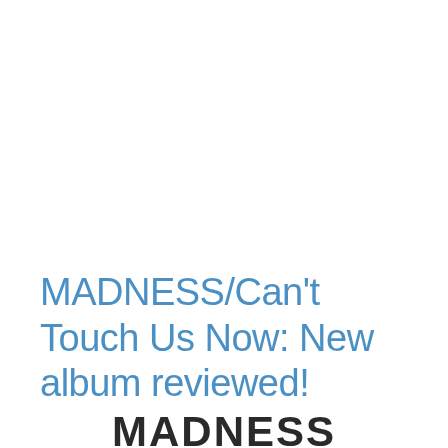MADNESS/Can't Touch Us Now: New album reviewed!
MADNESS